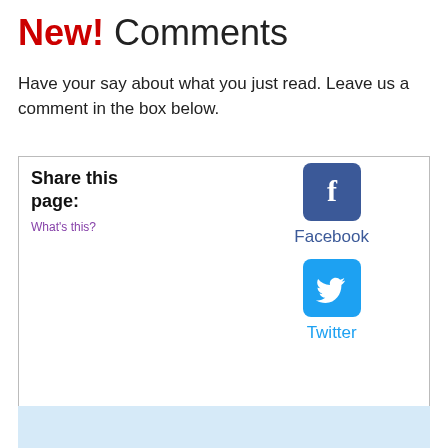New! Comments
Have your say about what you just read. Leave us a comment in the box below.
[Figure (infographic): Share this page box with Facebook and Twitter icons. Contains 'Share this page:' label, 'What's this?' link, Facebook icon and label, Twitter icon and label, and text 'Enjoy this page? Please pay it forward. Here's how...']
[Figure (other): Light blue box at the bottom of the page]